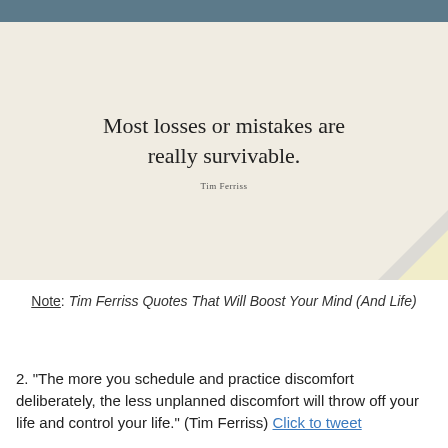[Figure (illustration): Quote card with beige/cream background showing the text 'Most losses or mistakes are really survivable.' attributed to Tim Ferriss, with a folded corner page-turn effect at bottom right.]
Note: Tim Ferriss Quotes That Will Boost Your Mind (And Life)
2. "The more you schedule and practice discomfort deliberately, the less unplanned discomfort will throw off your life and control your life." (Tim Ferriss) Click to tweet